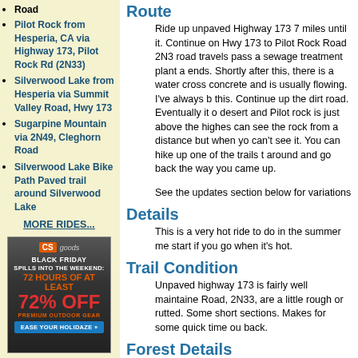Pilot Rock from Hesperia, CA via Highway 173, Pilot Rock Rd (2N33)
Silverwood Lake from Hesperia via Summit Valley Road, Hwy 173
Sugarpine Mountain via 2N49, Cleghorn Road
Silverwood Lake Bike Path Paved trail around Silverwood Lake
MORE RIDES...
[Figure (photo): Advertisement for CampSaver Goods Black Friday sale: 72 hours of at least 72% off premium outdoor gear. Ease your holidaze.]
Route
Ride up unpaved Highway 173 7 miles until it. Continue on Hwy 173 to Pilot Rock Road 2N3 road travels pass a sewage treatment plant a ends. Shortly after this, there is a water cross concrete and is usually flowing. I've always b this. Continue up the dirt road. Eventually it o desert and Pilot rock is just above the highes can see the rock from a distance but when yo can't see it. You can hike up one of the trails t around and go back the way you came up.
See the updates section below for variations
Details
This is a very hot ride to do in the summer me start if you go when it's hot.
Trail Condition
Unpaved highway 173 is fairly well maintaine Road, 2N33, are a little rough or rutted. Some short sections. Makes for some quick time ou back.
Forest Details
Starts in desert scrub. First large pine trees a into ride and continue until about 9 miles into desert plants resume to Pilot Rock and beyo dominantly Coulter Pine. Overall, it it's hot, litt offered by the trees and there is no relief whe Top this off with light colored dirt and this pla